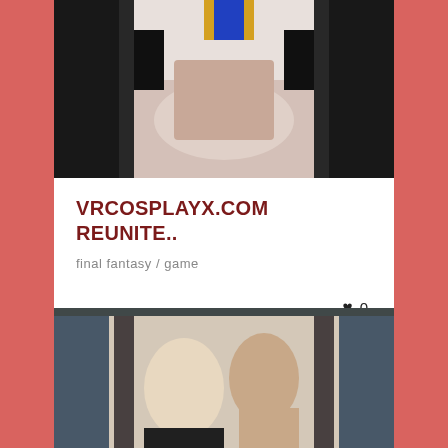[Figure (photo): Top thumbnail image showing cosplay scene with figures in costume against white/dark background]
VRCOSPLAYX.COM REUNITE..
final fantasy / game
♥ 0  👁 42  22/08/2018
[Figure (photo): Bottom thumbnail showing a blonde woman and man in a kitchen setting]